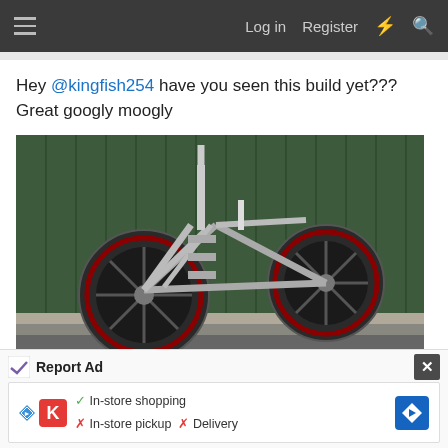Log in  Register
Hey @kingfish254 have you seen this build yet??? Great googly moogly
[Figure (photo): Custom built bicycle with large spoke wheels and aluminum frame leaning against a dark green corrugated metal wall]
Report Ad
In-store shopping  In-store pickup  Delivery